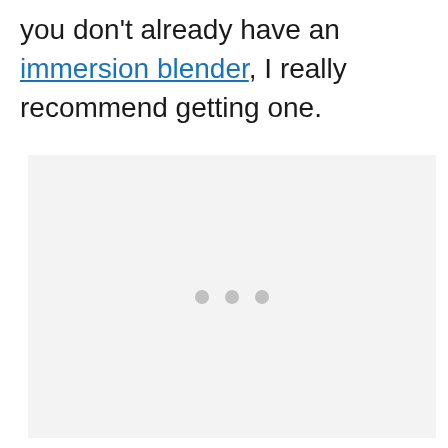you don't already have an immersion blender, I really recommend getting one.
[Figure (other): Loading placeholder with three gray dots on a light gray background]